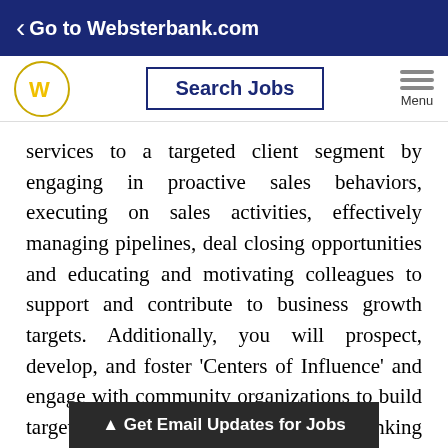< Go to Websterbank.com
services to a targeted client segment by engaging in proactive sales behaviors, executing on sales activities, effectively managing pipelines, deal closing opportunities and educating and motivating colleagues to support and contribute to business growth targets. Additionally, you will prospect, develop, and foster 'Centers of Influence' and engage with community organizations to build targeted business & consumer banking opportunities that align with bank strategy.
Core Job Requirements: